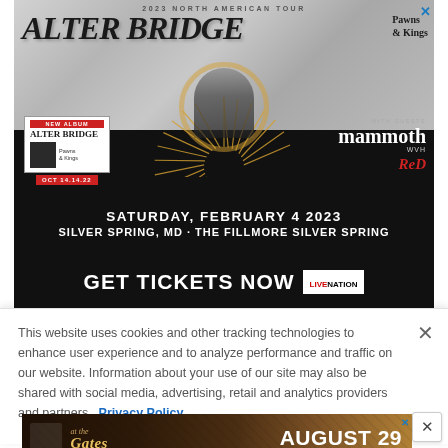[Figure (infographic): Alter Bridge 2023 North American Tour advertisement. Black and dark background with marble texture at top. Large stylized text 'ALTER BRIDGE' with skull/wheel graphic in center. Golden sunburst rays. Album box showing 'NEW ALBUM ALTER BRIDGE Pawns & Kings OCT 14.14.22'. With guests: mammoth WVH and RED logos. Date: SATURDAY, FEBRUARY 4 2023. Venue: SILVER SPRING, MD - THE FILLMORE SILVER SPRING. GET TICKETS NOW with Live Nation badge.]
This website uses cookies and other tracking technologies to enhance user experience and to analyze performance and traffic on our website. Information about your use of our site may also be shared with social media, advertising, retail and analytics providers and partners. Privacy Policy
[Figure (infographic): At The Gates concert advertisement. Dark brown/gold background. Logo text 'At The Gates' in italic serif font. Subtitle: SPECIAL ANNIVERSARY 2023 NORTH AMERICAN TOUR. Date: AUGUST 29. Venue: THE FILLMORE SILVER SPRING.]